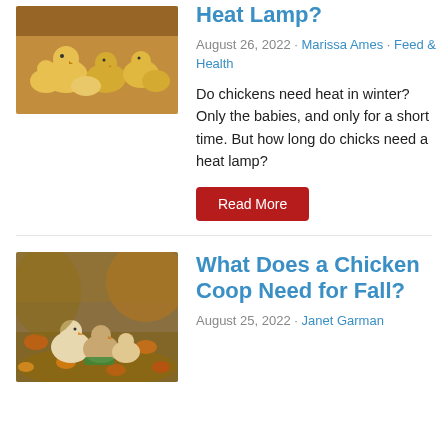[Figure (photo): Close-up photo of yellow baby chicks clustered together]
Heat Lamp?
August 26, 2022 · Marissa Ames · Feed & Health
Do chickens need heat in winter? Only the babies, and only for a short time. But how long do chicks need a heat lamp?
Read More
[Figure (photo): Photo of chickens foraging among autumn leaves outdoors]
What Does a Chicken Coop Need for Fall?
August 25, 2022 · Janet Garman